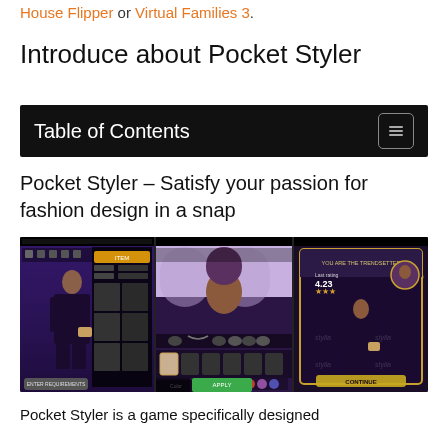House Flipper or Virtual Families 3.
Introduce about Pocket Styler
Table of Contents
Pocket Styler – Satisfy your passion for fashion design in a snap
[Figure (screenshot): Three screenshots of the Pocket Styler mobile game showing character styling interface, hair customization screen, and a fashion competition result screen.]
Pocket Styler is a game specifically designed